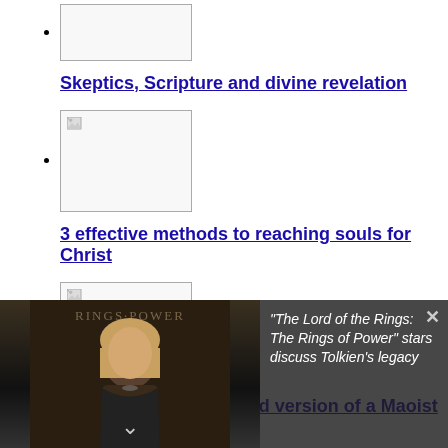[thumbnail image placeholder]
Skeptics, Scripture and divine revelation
[thumbnail image placeholder]
3 effective methods to reaching souls for Christ
[thumbnail image placeholder]
A modern, Americanized version of a Maoist
[Figure (screenshot): Video player overlay showing error message: 'The media could not be loaded, either because the server or network failed or because the format is not supported.' with text about 'The Lord of the Rings: The Rings of Power' stars discuss Tolkien's legacy. Woman visible in background.]